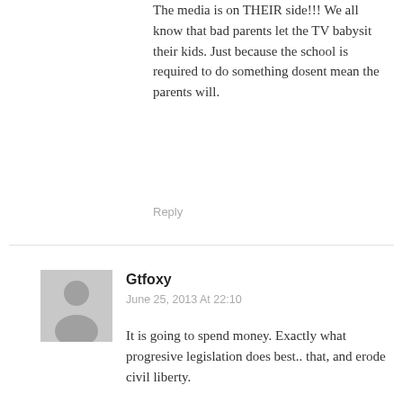The media is on THEIR side!!! We all know that bad parents let the TV babysit their kids. Just because the school is required to do something dosent mean the parents will.
Reply
Gtfoxy
June 25, 2013 At 22:10
It is going to spend money. Exactly what progresive legislation does best.. that, and erode civil liberty.
Reply
[Figure (photo): Burris Droptine Riflescope advertisement - shows a rifle scope on a map background with text 'Burris DROPTINE RIFLESCOPE LEARN MORE BEST SCOPE UNDER $150']